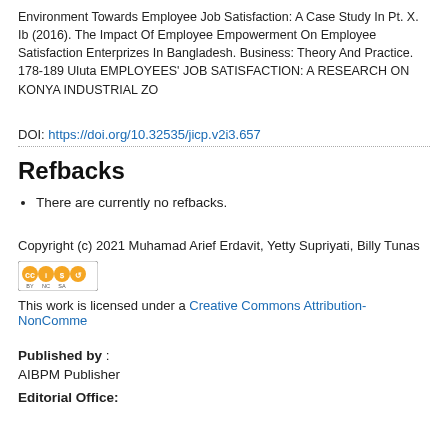Environment Towards Employee Job Satisfaction: A Case Study In Pt. X. Ib (2016). The Impact Of Employee Empowerment On Employee Satisfaction Enterprizes In Bangladesh. Business: Theory And Practice. 178-189 Uluta EMPLOYEES' JOB SATISFACTION: A RESEARCH ON KONYA INDUSTRIAL ZO
DOI: https://doi.org/10.32535/jicp.v2i3.657
Refbacks
There are currently no refbacks.
Copyright (c) 2021 Muhamad Arief Erdavit, Yetty Supriyati, Billy Tunas
[Figure (logo): Creative Commons Attribution-NonCommercial-ShareAlike license badge (CC BY NC SA)]
This work is licensed under a Creative Commons Attribution-NonComme
Published by :
AIBPM Publisher
Editorial Office: